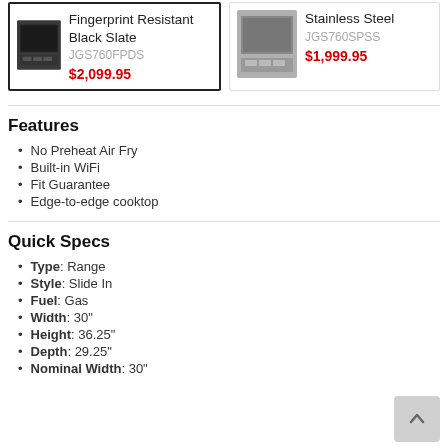[Figure (photo): Product card for Fingerprint Resistant Black Slate range JGS760FPDS at $2,099.95, selected with bold border]
[Figure (photo): Product card for Stainless Steel range JGS760SPSS at $1,999.95]
Features
No Preheat Air Fry
Built-in WiFi
Fit Guarantee
Edge-to-edge cooktop
Quick Specs
Type: Range
Style: Slide In
Fuel: Gas
Width: 30"
Height: 36.25"
Depth: 29.25"
Nominal Width: 30"